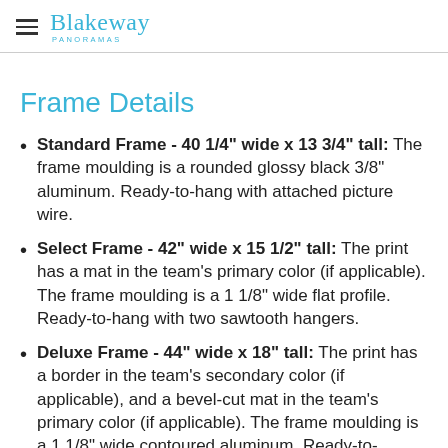Blakeway Panoramas
Frame Details
Standard Frame - 40 1/4" wide x 13 3/4" tall: The frame moulding is a rounded glossy black 3/8" aluminum. Ready-to-hang with attached picture wire.
Select Frame - 42" wide x 15 1/2" tall: The print has a mat in the team's primary color (if applicable). The frame moulding is a 1 1/8" wide flat profile. Ready-to-hang with two sawtooth hangers.
Deluxe Frame - 44" wide x 18" tall: The print has a border in the team's secondary color (if applicable), and a bevel-cut mat in the team's primary color (if applicable). The frame moulding is a 1 1/8" wide contoured aluminum. Ready-to-